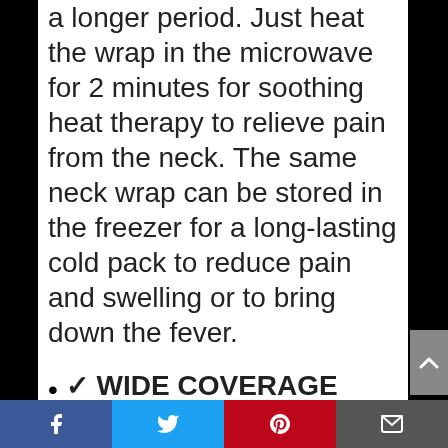a longer period. Just heat the wrap in the microwave for 2 minutes for soothing heat therapy to relieve pain from the neck. The same neck wrap can be stored in the freezer for a long-lasting cold pack to reduce pain and swelling or to bring down the fever.
✓ WIDE COVERAGE THERAPY PAD: This therapy pad helps in treating migraine, arthritis, muscle pain, stiffness, soreness and other minor injuries. Our neck wrap fits perfectly on shoulders and covers the neck, upper back along with a